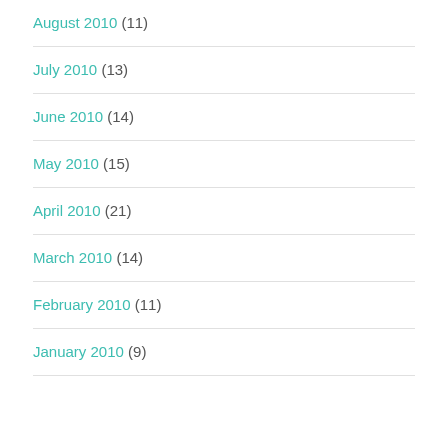August 2010 (11)
July 2010 (13)
June 2010 (14)
May 2010 (15)
April 2010 (21)
March 2010 (14)
February 2010 (11)
January 2010 (9)